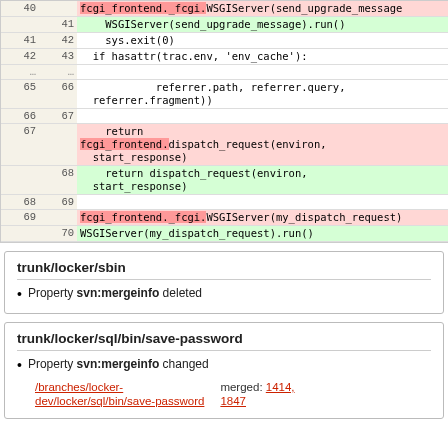[Figure (screenshot): Code diff view showing lines 40-70 with deletions (red) and additions (green) in a version control diff format, using monospace font. Line numbers shown in two columns (old/new).]
trunk/locker/sbin
Property svn:mergeinfo deleted
trunk/locker/sql/bin/save-password
Property svn:mergeinfo changed /branches/locker-dev/locker/sql/bin/save-password merged: 1414, 1847